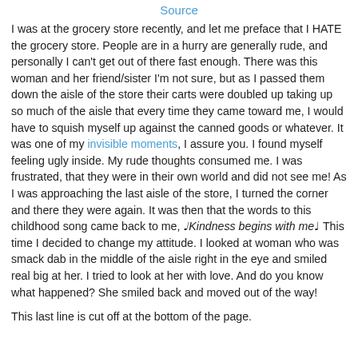Source
I was at the grocery store recently, and let me preface that I HATE the grocery store.  People are in a hurry are generally rude, and personally I can't get out of there fast enough.  There was this woman and her friend/sister I'm not sure, but as I passed them down the aisle of the store their carts were doubled up taking up so much of the aisle that every time they came toward me, I would have to squish myself up against the canned goods or whatever.  It was one of my invisible moments, I assure you.   I found myself feeling ugly inside.  My rude thoughts consumed me.  I was frustrated, that they were in their own world and did not see me!  As I was approaching the last aisle of the store, I turned the corner and there they were again. It was then that the words to this childhood song came back to me, ♩Kindness begins with me♩ This time I decided to change my attitude.  I looked at woman who was smack dab in the middle of the aisle right in the eye and smiled real big at her.  I tried to look at her with love. And do you know what happened?  She smiled back and moved out of the way!
This last line is cut off at bottom of page.